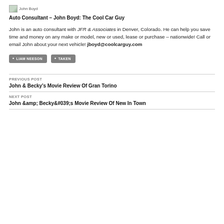[Figure (photo): Small thumbnail image of John Boyd]
Auto Consultant – John Boyd: The Cool Car Guy
John is an auto consultant with JFR & Associates in Denver, Colorado. He can help you save time and money on any make or model, new or used, lease or purchase – nationwide! Call or email John about your next vehicle! jboyd@coolcarguy.com
LIAM NEESON
TAKEN
PREVIOUS POST
John & Becky's Movie Review Of Gran Torino
NEXT POST
John &amp; Becky&#039;s Movie Review Of New In Town